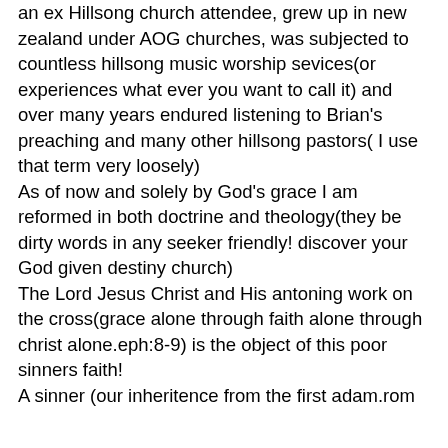an ex Hillsong church attendee, grew up in new zealand under AOG churches, was subjected to countless hillsong music worship sevices(or experiences what ever you want to call it) and over many years endured listening to Brian's preaching and many other hillsong pastors( I use that term very loosely) As of now and solely by God's grace I am reformed in both doctrine and theology(they be dirty words in any seeker friendly! discover your God given destiny church) The Lord Jesus Christ and His antoning work on the cross(grace alone through faith alone through christ alone.eph:8-9) is the object of this poor sinners faith! A sinner (our inheritence from the first adam.rom